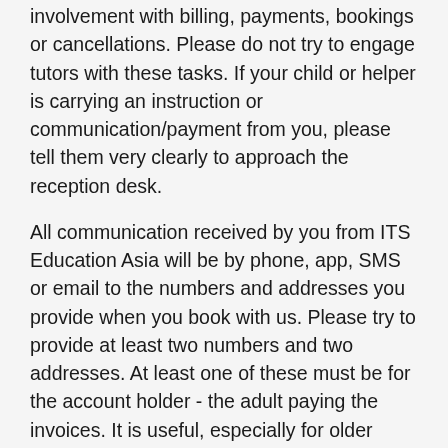involvement with billing, payments, bookings or cancellations. Please do not try to engage tutors with these tasks. If your child or helper is carrying an instruction or communication/payment from you, please tell them very clearly to approach the reception desk.
All communication received by you from ITS Education Asia will be by phone, app, SMS or email to the numbers and addresses you provide when you book with us. Please try to provide at least two numbers and two addresses. At least one of these must be for the account holder - the adult paying the invoices. It is useful, especially for older students, if we also have contact details for them in case we need to contact them directly regarding last minute scheduling or lateness. For younger students, you may also want to provide us with the mobile